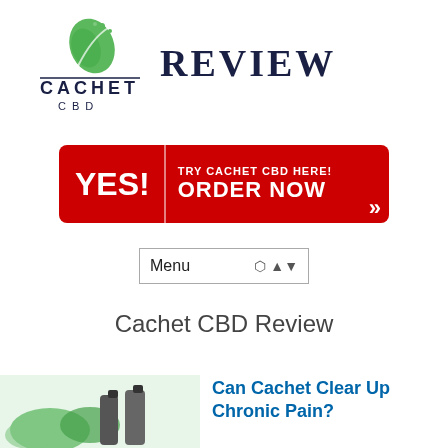[Figure (logo): Cachet CBD logo with green leaf and brand name, alongside REVIEW text]
[Figure (infographic): Red call-to-action button: YES! TRY CACHET CBD HERE! ORDER NOW with chevrons]
[Figure (screenshot): Menu dropdown selector UI element]
Cachet CBD Review
[Figure (photo): Product photo showing CBD oil bottles with leaves]
Can Cachet Clear Up Chronic Pain?